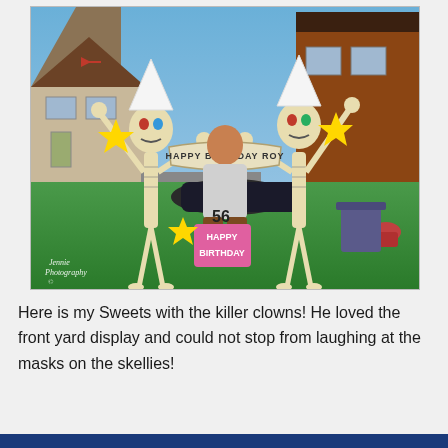[Figure (photo): A man posing between two large skeleton decorations dressed as killer clowns with pointed white hats and clown masks, holding a banner that reads 'HAPPY BIRTHDAY ROY'. A pink birthday cake decoration with '56 HAPPY BIRTHDAY' text is visible on the ground. Yellow stars are attached to the skeletons. The setting is a residential front yard with green grass, a house in the background. A watermark reads 'Jennie Photography' in the bottom left corner.]
Here is my Sweets with the killer clowns! He loved the front yard display and could not stop from laughing at the masks on the skellies!